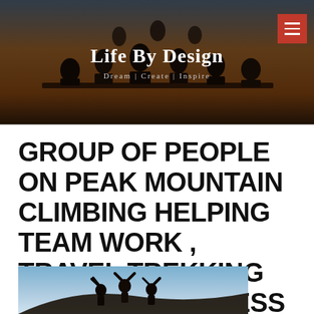[Figure (photo): Header banner with silhouettes of people sitting around a table at sunset, dark moody tones]
Life By Design
Dream | Create | Inspire
GROUP OF PEOPLE ON PEAK MOUNTAIN CLIMBING HELPING TEAM WORK , TRAVEL TREKKING SUCCESS BUSINESS CONCEPT
[Figure (photo): Silhouettes of people with arms raised on a peak against a bright sky]